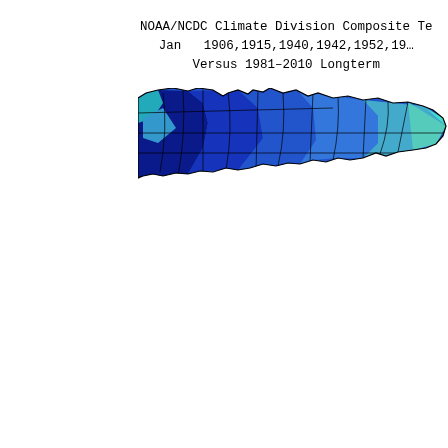NOAA/NCDC Climate Division Composite Te
Jan  1906,1915,1940,1942,1952,19...
Versus 1981-2010 Longterm...
[Figure (map): Partial climate division map (likely Minnesota or upper Midwest US state) showing temperature anomaly color fill. The visible region is wedge/elongated shape colored in shades of blue and cyan, indicating below-normal temperatures across climate divisions. Dark blue dominates the western and central portions, lighter cyan shades appear on the eastern portions. Black outlines delineate individual climate divisions.]